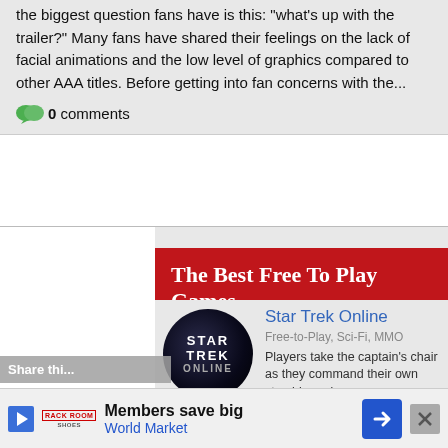the biggest question fans have is this: "what's up with the trailer?" Many fans have shared their feelings on the lack of facial animations and the low level of graphics compared to other AAA titles. Before getting into fan concerns with the...
0 comments
The Best Free To Play Games
Star Trek Online
Free-to-Play, Sci-Fi, MMO
Players take the captain's chair as they command their own starship and crew.
Neverwinter
Adventure, MMORPG, Free-to-Play
Members save big
World Market
Share thi...